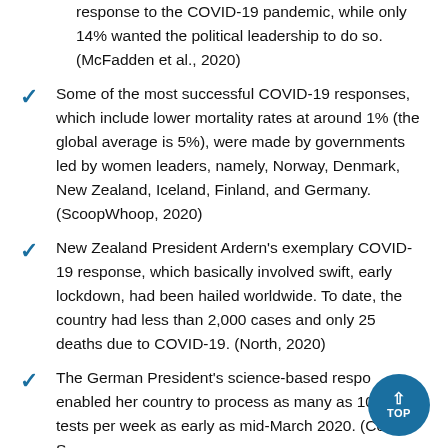response to the COVID-19 pandemic, while only 14% wanted the political leadership to do so. (McFadden et al., 2020)
Some of the most successful COVID-19 responses, which include lower mortality rates at around 1% (the global average is 5%), were made by governments led by women leaders, namely, Norway, Denmark, New Zealand, Iceland, Finland, and Germany. (ScoopWhoop, 2020)
New Zealand President Ardern's exemplary COVID-19 response, which basically involved swift, early lockdown, had been hailed worldwide. To date, the country had less than 2,000 cases and only 25 deaths due to COVID-19. (North, 2020)
The German President's science-based respo... enabled her country to process as many as 10... tests per week as early as mid-March 2020. (Cohen S...